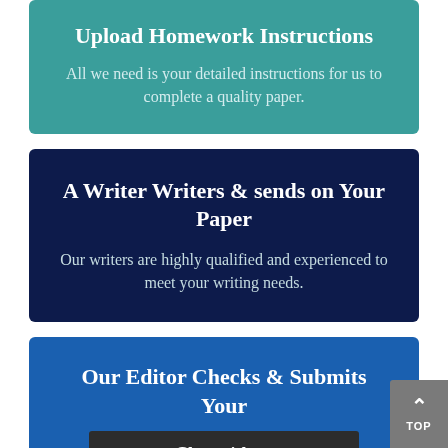[Figure (infographic): Teal card with title 'Upload Homework Instructions' and body text 'All we need is your detailed instructions for us to complete a quality paper.']
[Figure (infographic): Dark navy card with title 'A Writer Writers & sends on Your Paper' and body text 'Our writers are highly qualified and experienced to meet your writing needs.']
[Figure (infographic): Blue card with title 'Our Editor Checks & Submits Your' and a chat bar overlay reading 'Chat with us']